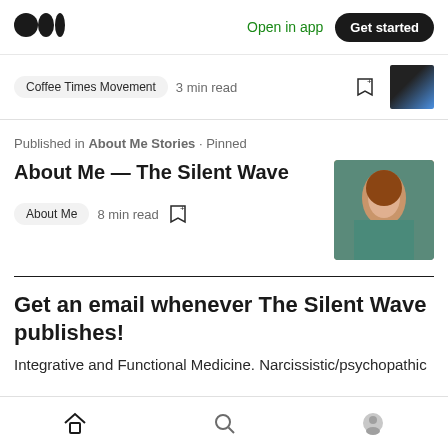Medium logo | Open in app | Get started
Coffee Times Movement  3 min read
Published in About Me Stories · Pinned
About Me — The Silent Wave
About Me  8 min read
Get an email whenever The Silent Wave publishes!
Integrative and Functional Medicine. Narcissistic/psychopathic
Home | Search | Profile